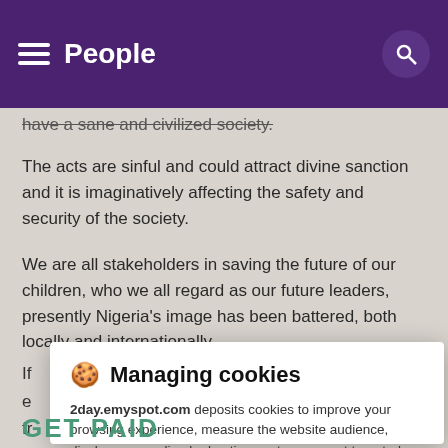People
have a sane and civilized society.
The acts are sinful and could attract divine sanction and it is imaginatively affecting the safety and security of the society.
We are all stakeholders in saving the future of our children, who we all regard as our future leaders, presently Nigeria's image has been battered, both locally and internationally.
[Figure (screenshot): Cookie consent modal dialog titled 'Managing cookies' from 2day.emyspot.com, with body text about cookie usage, a link to privacy policy, and three buttons: REFUSE, SETTINGS, ACCEPT.]
GET PAID